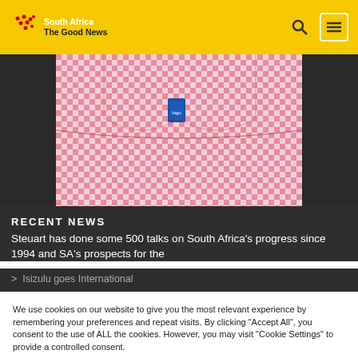South Africa The Good News
[Figure (photo): Close-up photo of a red and white checkered/gingham shirt with a small blue label visible]
RECENT NEWS
Steuart has done some 500 talks on South Africa's progress since 1994 and SA's prospects for the
> Isizulu goes International
We use cookies on our website to give you the most relevant experience by remembering your preferences and repeat visits. By clicking "Accept All", you consent to the use of ALL the cookies. However, you may visit "Cookie Settings" to provide a controlled consent.
Cookie Settings | Accept All